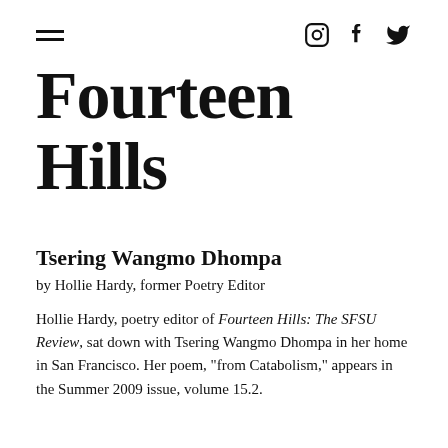Fourteen Hills — navigation bar with hamburger menu and social icons (Instagram, Facebook, Twitter)
Fourteen Hills
Tsering Wangmo Dhompa
by Hollie Hardy, former Poetry Editor
Hollie Hardy, poetry editor of Fourteen Hills: The SFSU Review, sat down with Tsering Wangmo Dhompa in her home in San Francisco. Her poem, "from Catabolism," appears in the Summer 2009 issue, volume 15.2.